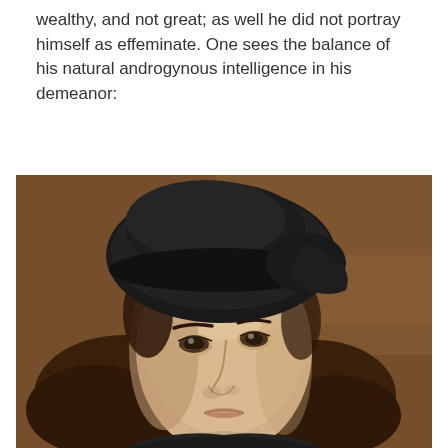Raphael painted himself as neither heroic nor macho, not wealthy, and not great; as well he did not portray himself as effeminate. One sees the balance of his natural androgynous intelligence in his demeanor:
[Figure (photo): A Renaissance-style portrait painting of a young man with long dark brown hair and a black beret hat, looking upward to the left against a warm brown background. This is Raphael's Self-Portrait (c. 1506).]